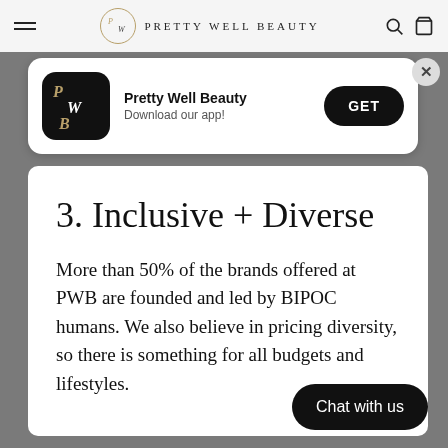Pretty Well Beauty
[Figure (screenshot): App download banner for Pretty Well Beauty with app icon, name, 'Download our app!' subtitle, and GET button]
3. Inclusive + Diverse
More than 50% of the brands offered at PWB are founded and led by BIPOC humans. We also believe in pricing diversity, so there is something for all budgets and lifestyles.